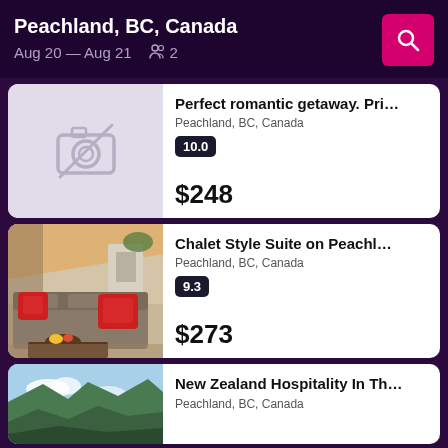Peachland, BC, Canada
Aug 20 — Aug 21  2
Perfect romantic getaway. Pri...
Peachland, BC, Canada
10.0
$248
Chalet Style Suite on Peachl...
Peachland, BC, Canada
9.3
$273
New Zealand Hospitality In Th...
Peachland, BC, Canada